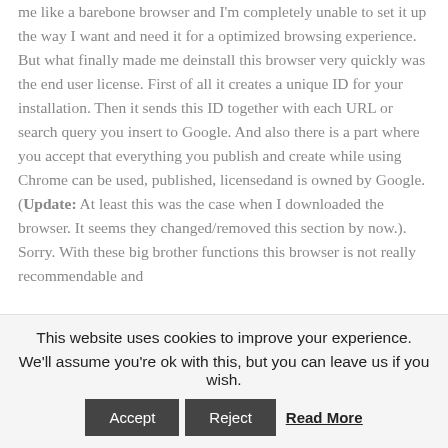me like a barebone browser and I'm completely unable to set it up the way I want and need it for a optimized browsing experience. But what finally made me deinstall this browser very quickly was the end user license. First of all it creates a unique ID for your installation. Then it sends this ID together with each URL or search query you insert to Google. And also there is a part where you accept that everything you publish and create while using Chrome can be used, published, licensedand is owned by Google. (Update: At least this was the case when I downloaded the browser. It seems they changed/removed this section by now.). Sorry. With these big brother functions this browser is not really recommendable and
This website uses cookies to improve your experience.
We'll assume you're ok with this, but you can leave us if you wish.
Accept  Reject  Read More